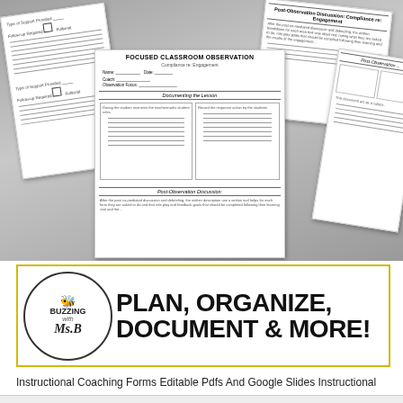[Figure (photo): A fan of white document forms/worksheets labeled 'Focused Classroom Observation - Compliance re: Engagement', 'Post-Observation Discussion', and other instructional coaching forms with lined fields, scattered overlapping on a gray background.]
[Figure (logo): Banner with 'Buzzing with Ms. B' circular logo on left and bold text 'PLAN, ORGANIZE, DOCUMENT & MORE!' on right, bordered in yellow/gold.]
Instructional Coaching Forms Editable Pdfs And Google Slides Instructional Coaching Forms Coaching Teachers Literacy Coaching Instructional coaching cycle forms